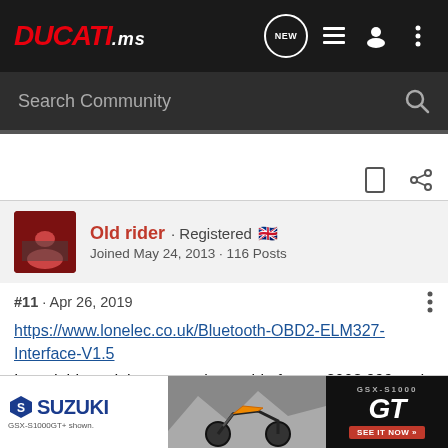DUCATI.ms — Navigation bar with NEW, list, user, and menu icons
Search Community
Old rider · Registered 🇬🇧
Joined May 24, 2013 · 116 Posts
#11 · Apr 26, 2019
https://www.lonelec.co.uk/Bluetooth-OBD2-ELM327-Interface-V1.5
I used this and the appropriate cable for my 2003 999 and downloaded Scan 5MX to my Android phone.
Once yo... to use.
I'm told ... a year,
so a rea...
[Figure (screenshot): Suzuki GSX-S1000GT advertisement banner with motorcycle image]